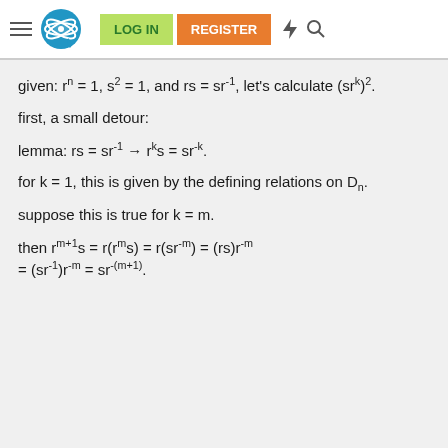LOG IN | REGISTER
given: rⁿ = 1, s² = 1, and rs = sr⁻¹, let's calculate (srᵏ)².
first, a small detour:
lemma: rs = sr⁻¹ → rᵏs = sr⁻ᵏ.
for k = 1, this is given by the defining relations on Dₙ.
suppose this is true for k = m.
then r^(m+1)s = r(rᵐs) = r(sr⁻ᵐ) = (rs)r⁻ᵐ = (sr⁻¹)r⁻ᵐ = sr⁻⁽ᵐ⁺¹⁾.